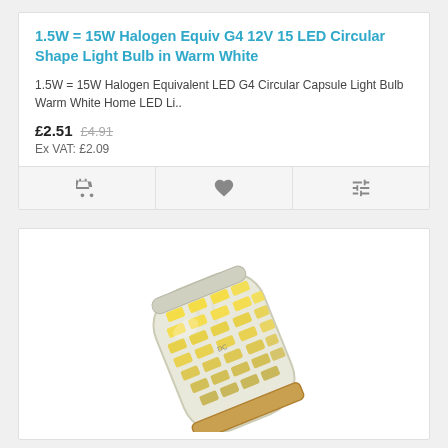1.5W = 15W Halogen Equiv G4 12V 15 LED Circular Shape Light Bulb in Warm White
1.5W = 15W Halogen Equivalent LED G4 Circular Capsule Light Bulb Warm White Home LED Li..
£2.51  £4.91  Ex VAT: £2.09
[Figure (photo): G4 12V LED capsule light bulb with circular silicone body showing yellow LED chips arranged in rows, with two metal pins protruding from the base.]